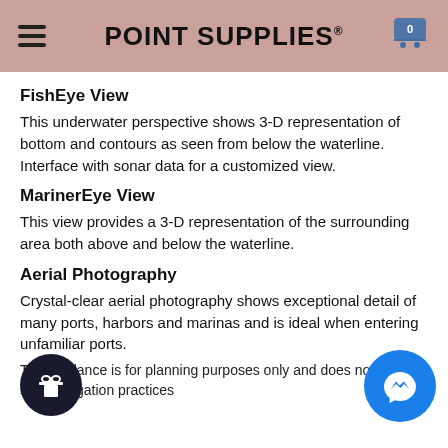POINT SUPPLIES®
FishEye View
This underwater perspective shows 3-D representation of bottom and contours as seen from below the waterline. Interface with sonar data for a customized view.
MarinerEye View
This view provides a 3-D representation of the surrounding area both above and below the waterline.
Aerial Photography
Crystal-clear aerial photography shows exceptional detail of many ports, harbors and marinas and is ideal when entering unfamiliar ports.
This guidance is for planning purposes only and does not replace safe navigation practices